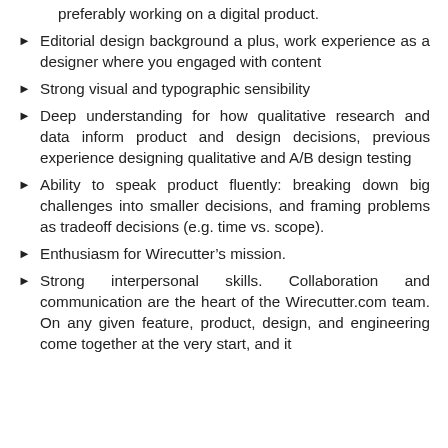preferably working on a digital product.
Editorial design background a plus, work experience as a designer where you engaged with content
Strong visual and typographic sensibility
Deep understanding for how qualitative research and data inform product and design decisions, previous experience designing qualitative and A/B design testing
Ability to speak product fluently: breaking down big challenges into smaller decisions, and framing problems as tradeoff decisions (e.g. time vs. scope).
Enthusiasm for Wirecutter’s mission.
Strong interpersonal skills. Collaboration and communication are the heart of the Wirecutter.com team. On any given feature, product, design, and engineering come together at the very start, and it